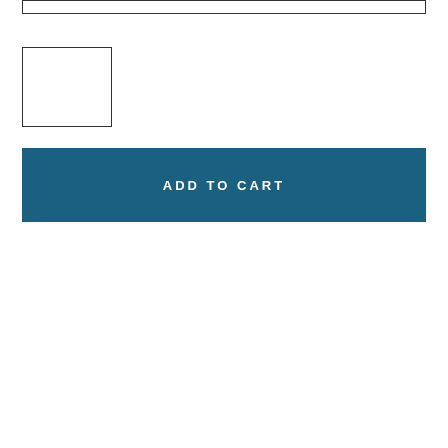[Figure (screenshot): Input bar / text field outline at the top of the page]
[Figure (screenshot): Small empty rectangular box/input field]
[Figure (screenshot): ADD TO CART button in dark teal blue color with white uppercase letter-spaced text]